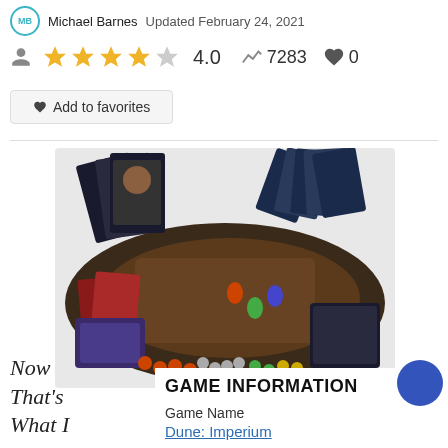MB Michael Barnes  Updated February 24, 2021
★★★★☆ 4.0  📊 7283  ♥ 0
♥ Add to favorites
[Figure (photo): Board game Dune: Imperium components laid out including game board, cards showing characters, colored tokens/meeples, and game box]
Now That's What I
GAME INFORMATION
Game Name
Dune: Imperium